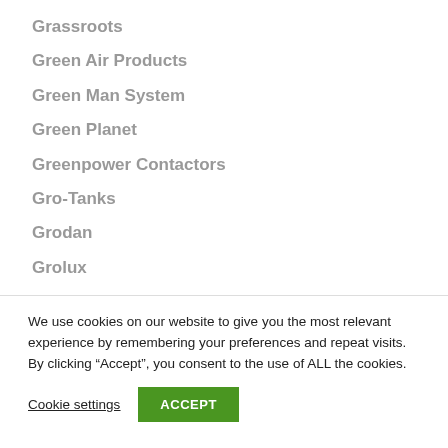Grassroots
Green Air Products
Green Man System
Green Planet
Greenpower Contactors
Gro-Tanks
Grodan
Grolux
Grotek
We use cookies on our website to give you the most relevant experience by remembering your preferences and repeat visits. By clicking “Accept”, you consent to the use of ALL the cookies.
Cookie settings  ACCEPT